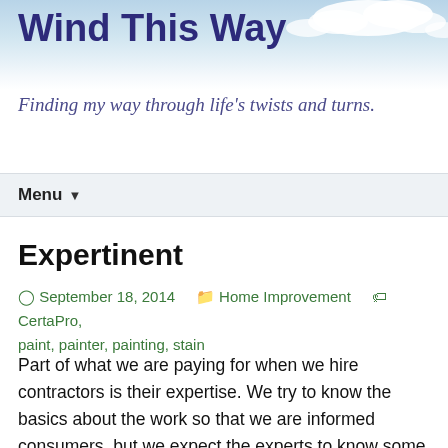Wind This Way
Finding my way through life's twists and turns.
Menu ▼
Expertinent
⊙ September 18, 2014   📁 Home Improvement   🏷 CertaPro, paint, painter, painting, stain
Part of what we are paying for when we hire contractors is their expertise. We try to know the basics about the work so that we are informed consumers, but we expect the experts to know some facts and tricks that we don't. What is infuriating is when these experts share their opinions after the fact and phrase it as though we should